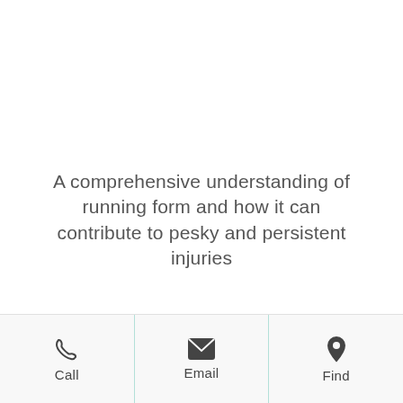A comprehensive understanding of running form and how it can contribute to pesky and persistent injuries
A personalized approach to training that targets prime muscles and breathing mechanics
Call | Email | Find